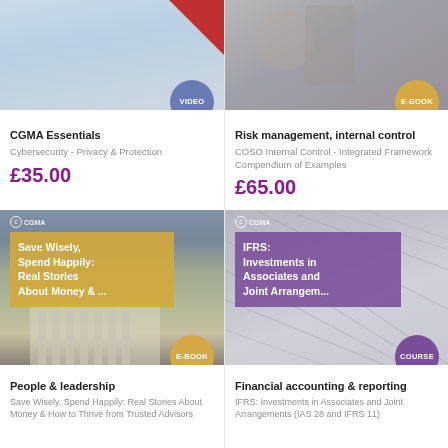[Figure (photo): Top-left card image with VIDEO badge - partial top area of CGMA Essentials video]
CGMA Essentials
Cybersecurity - Privacy & Protection
£35.00
[Figure (photo): Top-right card image with E-BOOK badge - Risk management ebook cover]
Risk management, internal control
COSO Internal Control - Integrated Framework Compendium of Examples
£65.00
[Figure (photo): Bottom-left book cover: Save Wisely, Spend Happily with E-BOOK badge]
People & leadership
Save Wisely, Spend Happily: Real Stories About Money & How to Thrive from Trusted Advisors
[Figure (photo): Bottom-right IFRS cover image with COURSE badge]
Financial accounting & reporting
IFRS: Investments in Associates and Joint Arrangements (IAS 28 and IFRS 11)